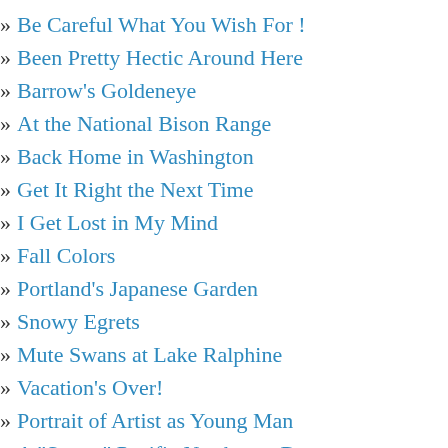Be Careful What You Wish For !
Been Pretty Hectic Around Here
Barrow's Goldeneye
At the National Bison Range
Back Home in Washington
Get It Right the Next Time
I Get Lost in My Mind
Fall Colors
Portland's Japanese Garden
Snowy Egrets
Mute Swans at Lake Ralphine
Vacation's Over!
Portrait of Artist as Young Man
A "Sunny" Pacific Northwest Day
Loren Discovers Sin
Attain Complete Emptiness